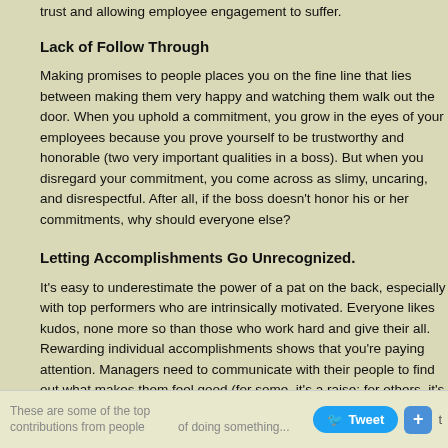trust and allowing employee engagement to suffer.
Lack of Follow Through
Making promises to people places you on the fine line that lies between making them very happy and watching them walk out the door. When you uphold a commitment, you grow in the eyes of your employees because you prove yourself to be trustworthy and honorable (two very important qualities in a boss). But when you disregard your commitment, you come across as slimy, uncaring, and disrespectful. After all, if the boss doesn't honor his or her commitments, why should everyone else?
Letting Accomplishments Go Unrecognized.
It's easy to underestimate the power of a pat on the back, especially with top performers who are intrinsically motivated. Everyone likes kudos, none more so than those who work hard and give their all. Rewarding individual accomplishments shows that you're paying attention. Managers need to communicate with their people to find out what makes them feel good (for some, it's a raise; for others, it's public recognition) and then to reward them for a job well done. With top performers, this will happen often if you're doing it right.
These are some of the top... contributions from people... of doing something...